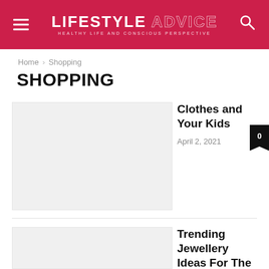LIFESTYLE ADVICE
Home › Shopping
SHOPPING
Clothes and Your Kids
April 2, 2021
Trending Jewellery Ideas For The Coming Summer
February 18, 2021